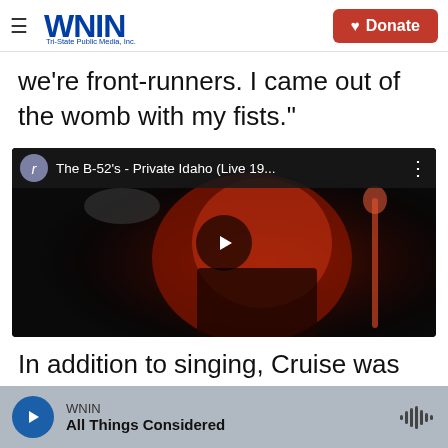WNIN Tri-State Public Media, Inc. | Donate
we're front-runners. I came out of the womb with my fists."
[Figure (screenshot): YouTube video embed showing 'The B-52's - Private Idaho (Live 19...' with a concert performance thumbnail of a woman with red hair singing into a microphone on a dark stage.]
In addition to singing, Cruise was also a Broadway
WNIN | All Things Considered